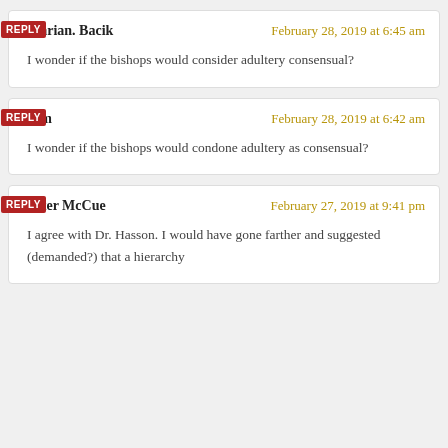REPLY
Marian. Bacik
February 28, 2019 at 6:45 am
I wonder if the bishops would consider adultery consensual?
REPLY
com
February 28, 2019 at 6:42 am
I wonder if the bishops would condone adultery as consensual?
REPLY
Peter McCue
February 27, 2019 at 9:41 pm
I agree with Dr. Hasson. I would have gone farther and suggested (demanded?) that a hierarchy